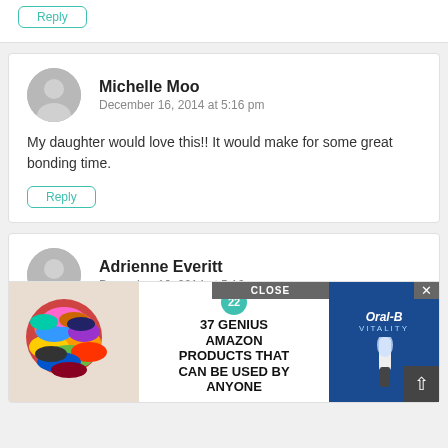Reply
Michelle Moo
December 16, 2014 at 5:16 pm
My daughter would love this!! It would make for some great bonding time.
Reply
Adrienne Everitt
December 16, 2014 at 5:16 pm
I think... pretty... to my...
[Figure (screenshot): Advertisement overlay showing colorful scrunchies on left, '22 37 GENIUS AMAZON PRODUCTS THAT CAN BE USED BY ANYONE' in middle, and Oral-B Vitality product on right with CLOSE button]
Rep...